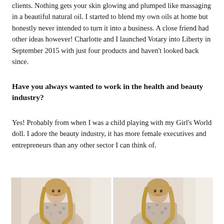clients. Nothing gets your skin glowing and plumped like massaging in a beautiful natural oil. I started to blend my own oils at home but honestly never intended to turn it into a business. A close friend had other ideas however! Charlotte and I launched Votary into Liberty in September 2015 with just four products and haven't looked back since.
Have you always wanted to work in the health and beauty industry?
Yes! Probably from when I was a child playing with my Girl's World doll. I adore the beauty industry, it has more female executives and entrepreneurs than any other sector I can think of.
[Figure (photo): Two side-by-side photos of a woman with long wavy blonde hair wearing a floral dress, posed in a light interior setting.]